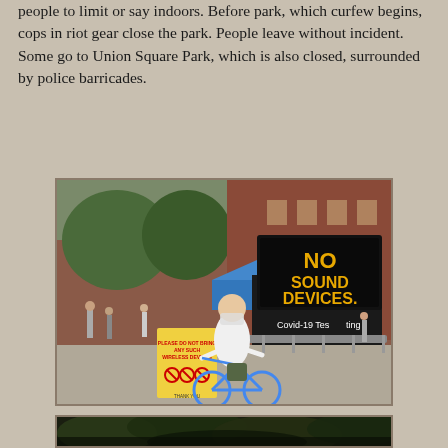people to limit or say indoors. Before park, which curfew begins, cops in riot gear close the park. People leave without incident. Some go to Union Square Park, which is also closed, surrounded by police barricades.
[Figure (photo): Street scene showing a person riding a blue Citi Bike in front of a park entrance. A large electronic sign on a black truck reads 'NO SOUND DEVICES.' in yellow LED letters. A Covid-19 Testing van is visible in the background. There is a yellow sign on an A-frame board. Metal barricades line the street. Trees and a red brick building are visible in the background.]
[Figure (photo): Dark image showing what appears to be trees or foliage with very low lighting, mostly dark greens and blacks.]